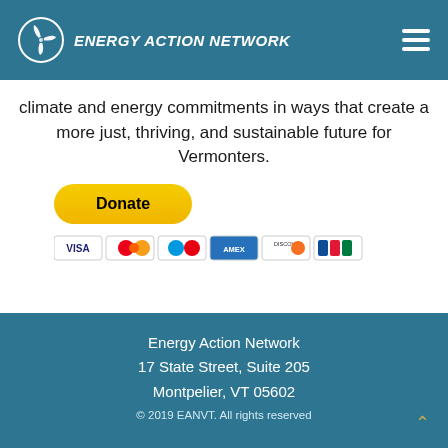Energy Action Network
climate and energy commitments in ways that create a more just, thriving, and sustainable future for Vermonters.
[Figure (other): PayPal Donate button with yellow rounded rectangle and bold text 'Donate', followed by payment card icons: VISA, MasterCard, Maestro, American Express, Discover, JCB]
Energy Action Network
17 State Street, Suite 205
Montpelier, VT 05602
© 2019 EANVT. All rights reserved